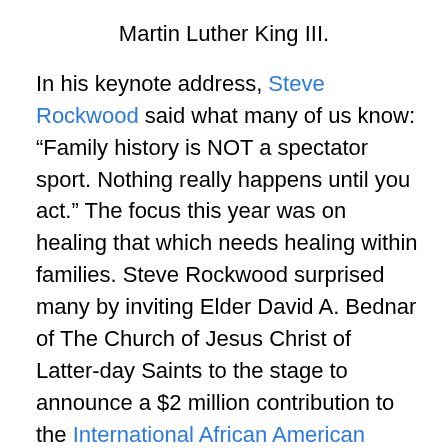Martin Luther King III.
In his keynote address, Steve Rockwood said what many of us know: “Family history is NOT a spectator sport. Nothing really happens until you act.” The focus this year was on healing that which needs healing within families. Steve Rockwood surprised many by inviting Elder David A. Bednar of The Church of Jesus Christ of Latter-day Saints to the stage to announce a $2 million contribution to the International African American Museum Center for Family History (@IAAMCFH) to be built in Charleston, South Carolina. Charleston is the port to which many enslaved people arrived. Construction for the Center will begin mid-2019 with an estimated completion date in 2021. Audience members laughed when Elder Bednar said that the Church no longer issues checks, but the electronic